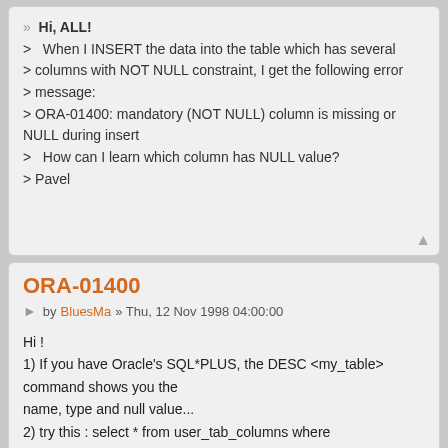Hi, ALL!
> When I INSERT the data into the table which has several
> columns with NOT NULL constraint, I get the following error
> message:
> ORA-01400: mandatory (NOT NULL) column is missing or NULL during insert
>   How can I learn which column has NULL value?
> Pavel
ORA-01400
by BluesMa » Thu, 12 Nov 1998 04:00:00
Hi !
1) If you have Oracle's SQL*PLUS, the DESC <my_table> command shows you the
name, type and null value...
2) try this : select * from user_tab_columns where table_name='<MY_TABLE>';
In add, you can use the NVL function to replace null value by other :
 for instance , NVL(col1,1)=1 if col1 is null....
good luck !, Yann